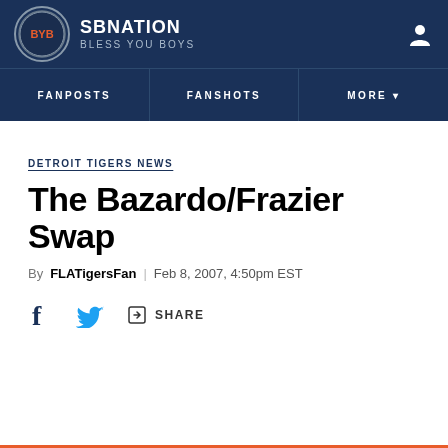SBNATION BLESS YOU BOYS
FANPOSTS | FANSHOTS | MORE
DETROIT TIGERS NEWS
The Bazardo/Frazier Swap
By FLATigersFan | Feb 8, 2007, 4:50pm EST
SHARE